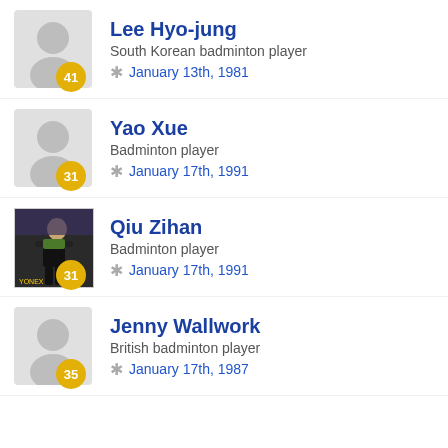Lee Hyo-jung | South Korean badminton player | * January 13th, 1981 | badge: 41
Yao Xue | Badminton player | * January 17th, 1991 | badge: 31
Qiu Zihan | Badminton player | * January 17th, 1991 | badge: 31
Jenny Wallwork | British badminton player | * January 17th, 1987 | badge: 35